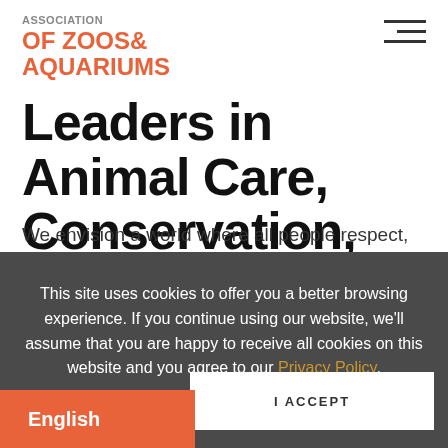ASSOCIATION OF ZOOS & AQUARIUMS
Leaders in Animal Care, Conservation, and Family Fun
We envision a world where all people respect,
This site uses cookies to offer you a better browsing experience. If you continue using our website, we'll assume that you are happy to receive all cookies on this website and you agree to our Privacy Policy.
I ACCEPT
English